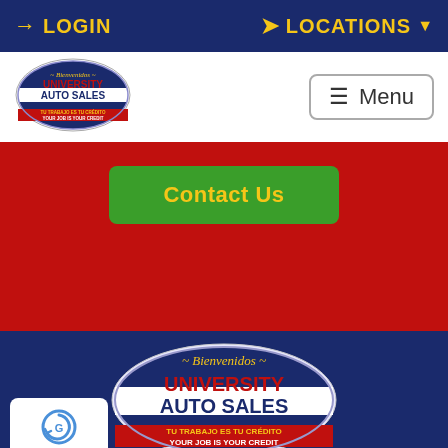LOGIN   LOCATIONS
[Figure (logo): University Auto Sales oval logo with Bienvenidos text, red/blue/white colors]
≡ Menu
Contact Us
[Figure (logo): University Auto Sales large oval logo with Bienvenidos, UNIVERSITY AUTO SALES, TU TRABAJO ES TU CRÉDITO YOUR JOB IS YOUR CREDIT]
[Figure (other): reCAPTCHA badge with Privacy and Terms links]